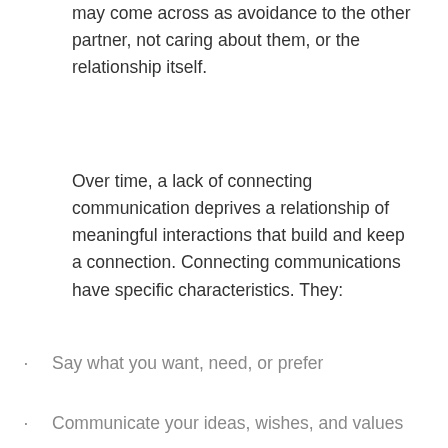may come across as avoidance to the other partner, not caring about them, or the relationship itself.
Over time, a lack of connecting communication deprives a relationship of meaningful interactions that build and keep a connection. Connecting communications have specific characteristics. They:
Say what you want, need, or prefer
Communicate your ideas, wishes, and values